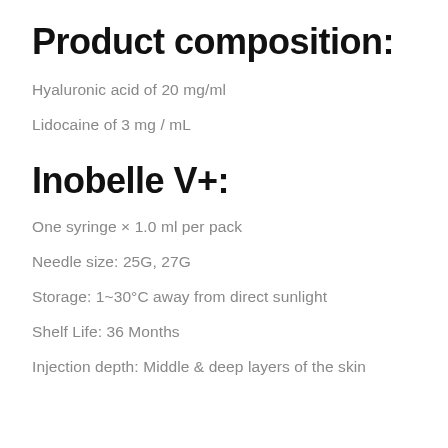Product composition:
Hyaluronic acid of 20 mg/ml
Lidocaine of 3 mg / mL
Inobelle V+:
One syringe × 1.0 ml per pack
Needle size: 25G, 27G
Storage: 1~30°C away from direct sunlight
Shelf Life: 36 Months
Injection depth: Middle & deep layers of the skin